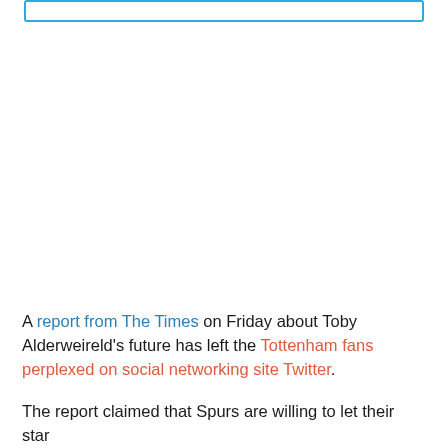A report from The Times on Friday about Toby Alderweireld's future has left the Tottenham fans perplexed on social networking site Twitter.
The report claimed that Spurs are willing to let their star